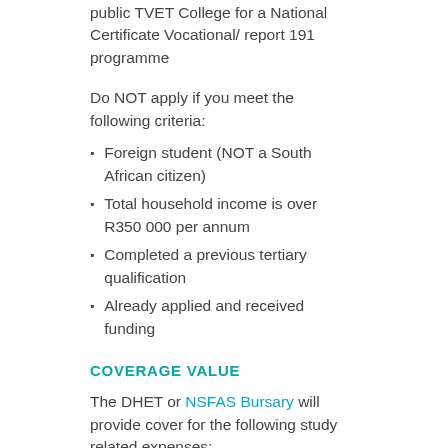public TVET College for a National Certificate Vocational/ report 191 programme
Do NOT apply if you meet the following criteria:
Foreign student (NOT a South African citizen)
Total household income is over R350 000 per annum
Completed a previous tertiary qualification
Already applied and received funding
COVERAGE VALUE
The DHET or NSFAS Bursary will provide cover for the following study related expenses:
Registration fee
Tuition fee
Subsidized book allowances
Prescribed learning materials (up to a certain amount, as set by NSFAS)